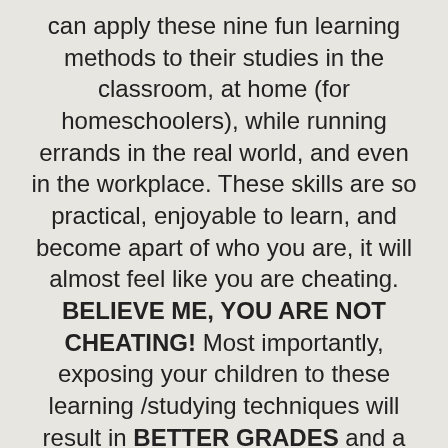can apply these nine fun learning methods to their studies in the classroom, at home (for homeschoolers), while running errands in the real world, and even in the workplace. These skills are so practical, enjoyable to learn, and become apart of who you are, it will almost feel like you are cheating. BELIEVE ME, YOU ARE NOT CHEATING! Most importantly, exposing your children to these learning /studying techniques will result in BETTER GRADES and a DESIRE TO LEARN. Take this course and watch your child's creativity, imagination, and curiosity